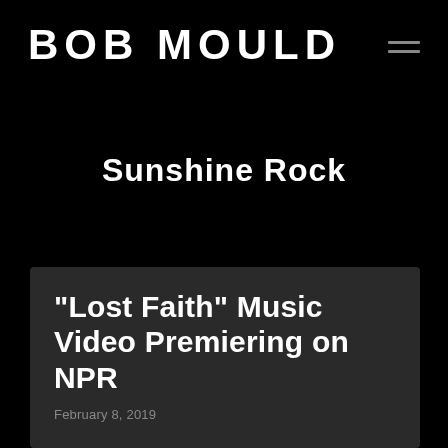BOB MOULD
Sunshine Rock
“Lost Faith” Music Video Premiering on NPR
February 8, 2019